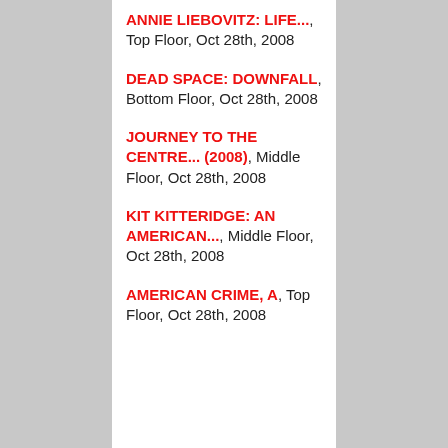ANNIE LIEBOVITZ: LIFE..., Top Floor, Oct 28th, 2008
DEAD SPACE: DOWNFALL, Bottom Floor, Oct 28th, 2008
JOURNEY TO THE CENTRE... (2008), Middle Floor, Oct 28th, 2008
KIT KITTERIDGE: AN AMERICAN..., Middle Floor, Oct 28th, 2008
AMERICAN CRIME, A, Top Floor, Oct 28th, 2008